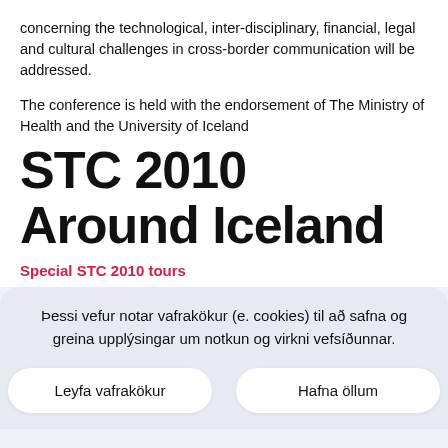concerning the technological, inter-disciplinary, financial, legal and cultural challenges in cross-border communication will be addressed.
The conference is held with the endorsement of The Ministry of Health and the University of Iceland
STC 2010 Around Iceland
Special STC 2010 tours
Þessi vefur notar vafrakökur (e. cookies) til að safna og greina upplýsingar um notkun og virkni vefsíðunnar.
Leyfa vafrakökur   Hafna öllum